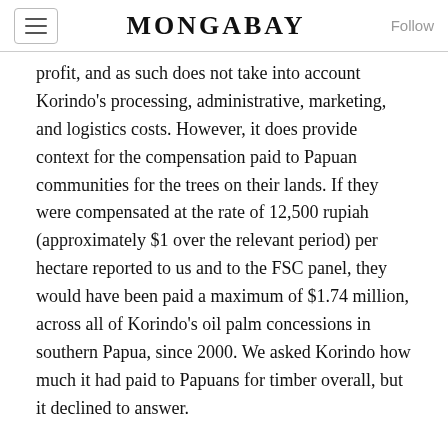MONGABAY
profit, and as such does not take into account Korindo's processing, administrative, marketing, and logistics costs. However, it does provide context for the compensation paid to Papuan communities for the trees on their lands. If they were compensated at the rate of 12,500 rupiah (approximately $1 over the relevant period) per hectare reported to us and to the FSC panel, they would have been paid a maximum of $1.74 million, across all of Korindo's oil palm concessions in southern Papua, since 2000. We asked Korindo how much it had paid to Papuans for timber overall, but it declined to answer.